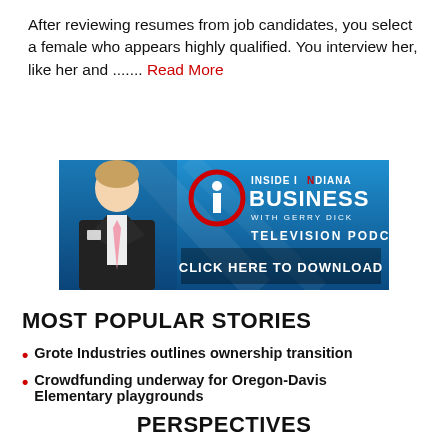After reviewing resumes from job candidates, you select a female who appears highly qualified. You interview her, like her and ....... Read More
[Figure (screenshot): Inside Indiana Business with Gerry Dick Television Podcast — Click Here to Download banner advertisement with a man in a suit and blue gradient background]
MOST POPULAR STORIES
Grote Industries outlines ownership transition
Crowdfunding underway for Oregon-Davis Elementary playgrounds
PERSPECTIVES